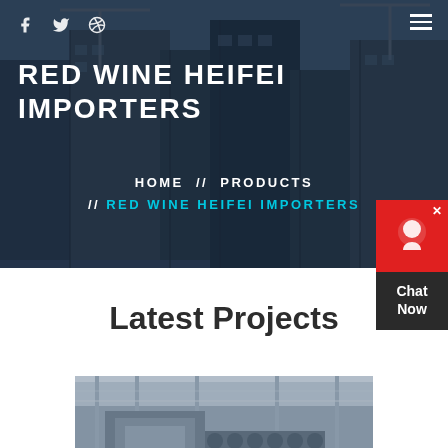RED WINE HEIFEI IMPORTERS
HOME // PRODUCTS // RED WINE HEIFEI IMPORTERS
Latest Projects
[Figure (photo): Industrial machinery or construction equipment inside a building with metal framework and cranes visible]